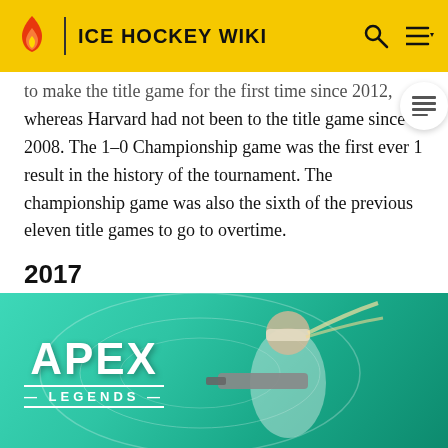ICE HOCKEY WIKI
to make the title game for the first time since 2012, whereas Harvard had not been to the title game since 2008. The 1–0 Championship game was the first ever 1 result in the history of the tournament. The championship game was also the sixth of the previous eleven title games to go to overtime.
2017
The 2017 Beanpot took place on February 6 and 13. The first round of the tournament saw Harvard defeat Northeastern 4–3 and BU initially defeat Boston University 4–2 in the consolation and advanced for the Championship, winning his 11th title and first since 1993 by a score of 6–3. This was BU's
[Figure (screenshot): Apex Legends video game advertisement banner overlaid on the article content, featuring the Apex Legends logo and a game character with a weapon against a teal/green background.]